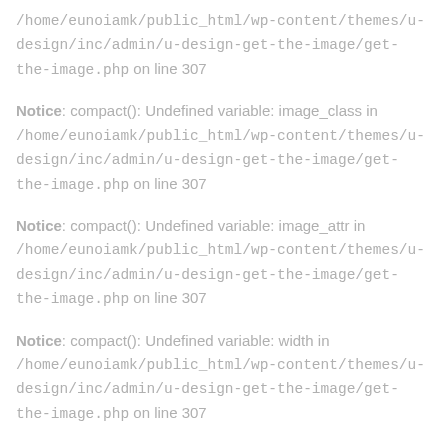/home/eunoiamk/public_html/wp-content/themes/u-design/inc/admin/u-design-get-the-image/get-the-image.php on line 307
Notice: compact(): Undefined variable: image_class in /home/eunoiamk/public_html/wp-content/themes/u-design/inc/admin/u-design-get-the-image/get-the-image.php on line 307
Notice: compact(): Undefined variable: image_attr in /home/eunoiamk/public_html/wp-content/themes/u-design/inc/admin/u-design-get-the-image/get-the-image.php on line 307
Notice: compact(): Undefined variable: width in /home/eunoiamk/public_html/wp-content/themes/u-design/inc/admin/u-design-get-the-image/get-the-image.php on line 307